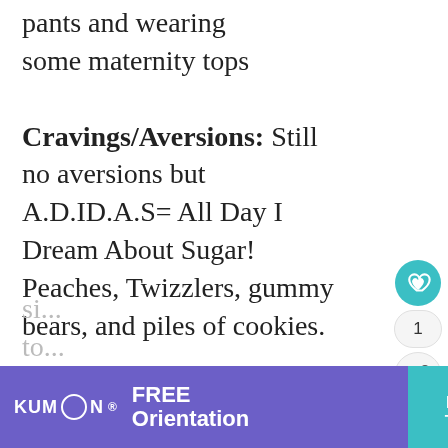pants and wearing some maternity tops
Cravings/Aversions: Still no aversions but A.D.ID.A.S= All Day I Dream About Sugar! Peaches, Twizzlers, gummy bears, and piles of cookies.
Sleep: can't wait to
[Figure (screenshot): Social interaction panel with heart/like button showing count of 1 and a share button]
[Figure (screenshot): What's Next promotional block: thumbnail image with teal label 'WHAT'S NEXT ->' and title 'Baby Jesus in a Bubble']
[Figure (screenshot): Kumon advertisement banner: purple left section with Kumon logo and FREE Orientation text, teal right section with Register Today button, grey close button with X]